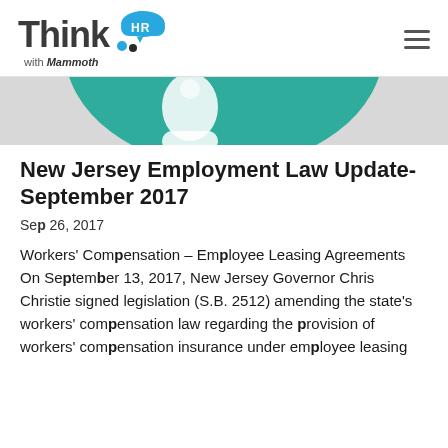Think HR with Mammoth
[Figure (illustration): Teal/green circular graphic partially visible, hero image banner]
New Jersey Employment Law Update-September 2017
Sep 26, 2017
Workers' Compensation – Employee Leasing Agreements On September 13, 2017, New Jersey Governor Chris Christie signed legislation (S.B. 2512) amending the state's workers' compensation law regarding the provision of workers' compensation insurance under employee leasing